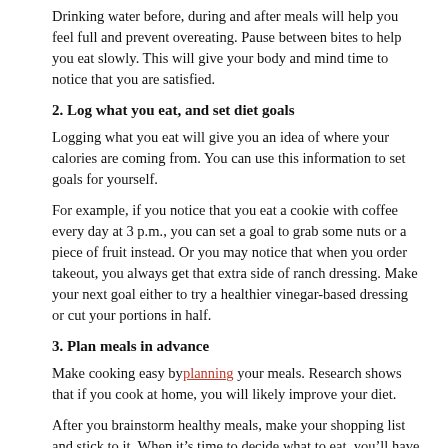Drinking water before, during and after meals will help you feel full and prevent overeating. Pause between bites to help you eat slowly. This will give your body and mind time to notice that you are satisfied.
2. Log what you eat, and set diet goals
Logging what you eat will give you an idea of where your calories are coming from. You can use this information to set goals for yourself.
For example, if you notice that you eat a cookie with coffee every day at 3 p.m., you can set a goal to grab some nuts or a piece of fruit instead. Or you may notice that when you order takeout, you always get that extra side of ranch dressing. Make your next goal either to try a healthier vinegar-based dressing or cut your portions in half.
3. Plan meals in advance
Make cooking easy by planning your meals. Research shows that if you cook at home, you will likely improve your diet.
After you brainstorm healthy meals, make your shopping list and stick to it. When it’s time to decide what to eat, you’ll have all the ingredients on hand.